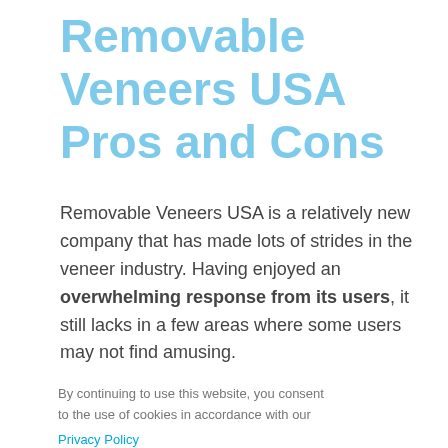Removable Veneers USA Pros and Cons
Removable Veneers USA is a relatively new company that has made lots of strides in the veneer industry. Having enjoyed an overwhelming response from its users, it still lacks in a few areas where some users may not find amusing.
By continuing to use this website, you consent to the use of cookies in accordance with our Privacy Policy
ACCEPT